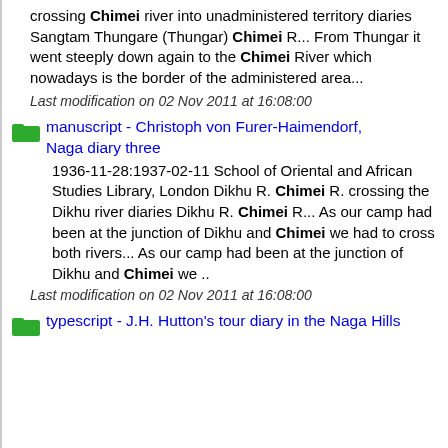crossing Chimei river into unadministered territory diaries Sangtam Thungare (Thungar) Chimei R... From Thungar it went steeply down again to the Chimei River which nowadays is the border of the administered area...
Last modification on 02 Nov 2011 at 16:08:00
manuscript - Christoph von Furer-Haimendorf, Naga diary three
1936-11-28:1937-02-11 School of Oriental and African Studies Library, London Dikhu R. Chimei R. crossing the Dikhu river diaries Dikhu R. Chimei R... As our camp had been at the junction of Dikhu and Chimei we had to cross both rivers... As our camp had been at the junction of Dikhu and Chimei we ..
Last modification on 02 Nov 2011 at 16:08:00
typescript - J.H. Hutton's tour diary in the Naga Hills